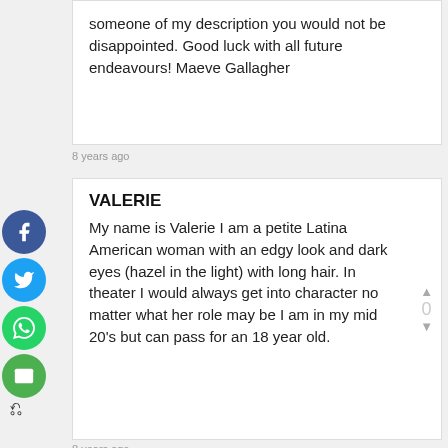someone of my description you would not be disappointed. Good luck with all future endeavours! Maeve Gallagher
8 years ago
VALERIE
My name is Valerie I am a petite Latina American woman with an edgy look and dark eyes (hazel in the light) with long hair. In theater I would always get into character no matter what her role may be I am in my mid 20's but can pass for an 18 year old.
8 years ago